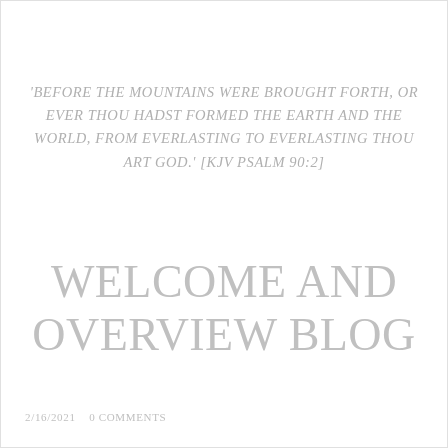'BEFORE THE MOUNTAINS WERE BROUGHT FORTH, OR EVER THOU HADST FORMED THE EARTH AND THE WORLD, FROM EVERLASTING TO EVERLASTING THOU ART GOD.' [KJV PSALM 90:2]
WELCOME AND OVERVIEW BLOG
2/16/2021   0 COMMENTS